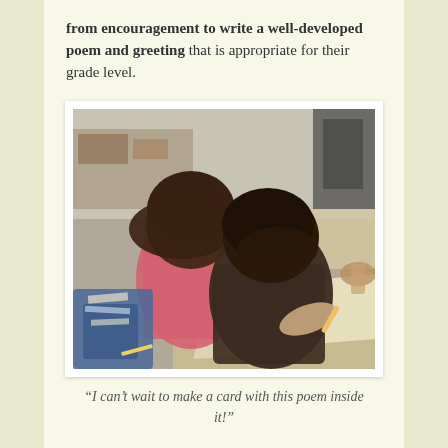from encouragement to write a well-developed poem and greeting that is appropriate for their grade level.
[Figure (photo): Two children sitting at desks in a classroom, leaning forward and writing or drawing, viewed from behind. One child wears a pink top, the other a dark brown top. Papers, pencils, and classroom materials are visible.]
“I can’t wait to make a card with this poem inside it!”